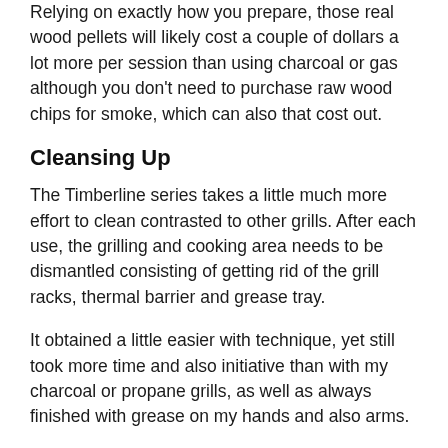Relying on exactly how you prepare, those real wood pellets will likely cost a couple of dollars a lot more per session than using charcoal or gas although you don't need to purchase raw wood chips for smoke, which can also that cost out.
Cleansing Up
The Timberline series takes a little much more effort to clean contrasted to other grills. After each use, the grilling and cooking area needs to be dismantled consisting of getting rid of the grill racks, thermal barrier and grease tray.
It obtained a little easier with technique, yet still took more time and also initiative than with my charcoal or propane grills, as well as always finished with grease on my hands and also arms.